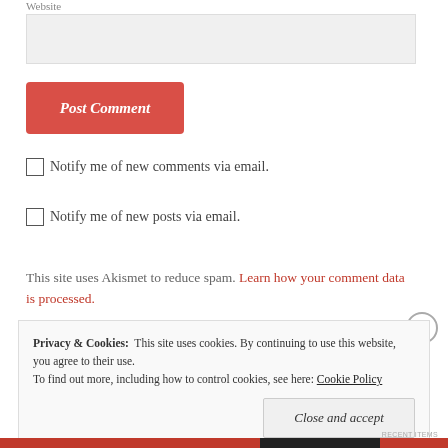Website
Post Comment
Notify me of new comments via email.
Notify me of new posts via email.
This site uses Akismet to reduce spam. Learn how your comment data is processed.
Privacy & Cookies: This site uses cookies. By continuing to use this website, you agree to their use. To find out more, including how to control cookies, see here: Cookie Policy
Close and accept